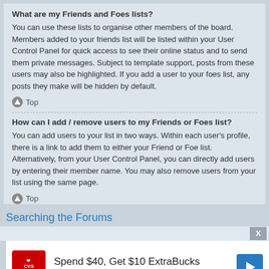What are my Friends and Foes lists?
You can use these lists to organise other members of the board. Members added to your friends list will be listed within your User Control Panel for quick access to see their online status and to send them private messages. Subject to template support, posts from these users may also be highlighted. If you add a user to your foes list, any posts they make will be hidden by default.
Top
How can I add / remove users to my Friends or Foes list?
You can add users to your list in two ways. Within each user's profile, there is a link to add them to either your Friend or Foe list. Alternatively, from your User Control Panel, you can directly add users by entering their member name. You may also remove users from your list using the same page.
Top
Searching the Forums
[Figure (infographic): CVS Pharmacy advertisement: Spend $40, Get $10 ExtraBucks]